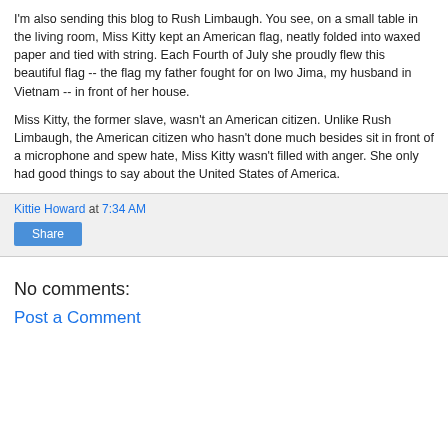I'm also sending this blog to Rush Limbaugh. You see, on a small table in the living room, Miss Kitty kept an American flag, neatly folded into waxed paper and tied with string. Each Fourth of July she proudly flew this beautiful flag -- the flag my father fought for on Iwo Jima, my husband in Vietnam -- in front of her house.
Miss Kitty, the former slave, wasn't an American citizen. Unlike Rush Limbaugh, the American citizen who hasn't done much besides sit in front of a microphone and spew hate, Miss Kitty wasn't filled with anger. She only had good things to say about the United States of America.
Kittie Howard at 7:34 AM
Share
No comments:
Post a Comment